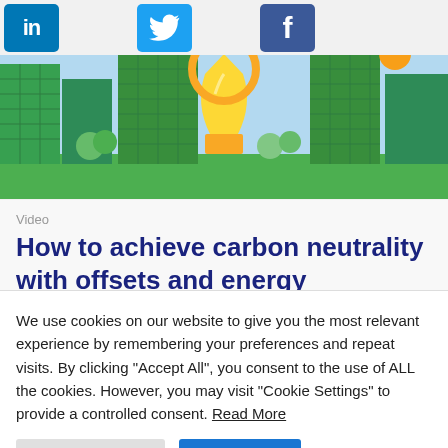[Figure (illustration): Social media icons row: LinkedIn (blue), Twitter (light blue bird), Facebook (dark blue f)]
[Figure (illustration): Hero illustration of a green city skyline with buildings, trees, and a golden circular trophy/award sculpture in the center]
Video
How to achieve carbon neutrality with offsets and energy
We use cookies on our website to give you the most relevant experience by remembering your preferences and repeat visits. By clicking "Accept All", you consent to the use of ALL the cookies. However, you may visit "Cookie Settings" to provide a controlled consent. Read More